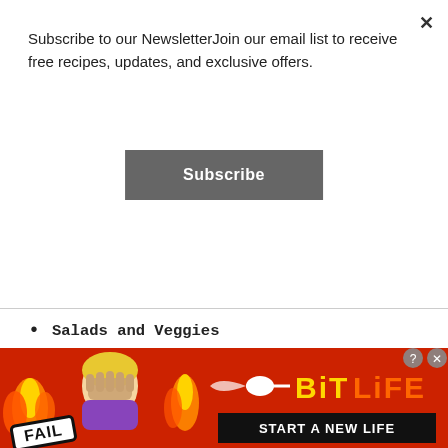Subscribe to our NewsletterJoin our email list to receive free recipes, updates, and exclusive offers.
Subscribe
Salads and Veggies
Kitchen Tips
Cooking Tips
Ingredient Guides
Organization
[Figure (illustration): Advertisement banner for BitLife game featuring fire, a cartoon character facepalming, FAIL badge, sperm icon, BitLife logo in yellow/orange, and START A NEW LIFE tagline on black background, on red background]